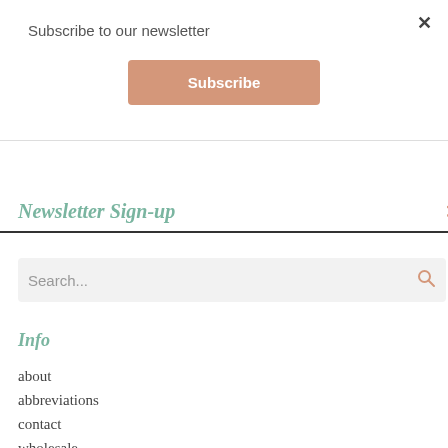Subscribe to our newsletter
Subscribe
Newsletter Sign-up
Search...
Info
about
abbreviations
contact
wholesale
errata